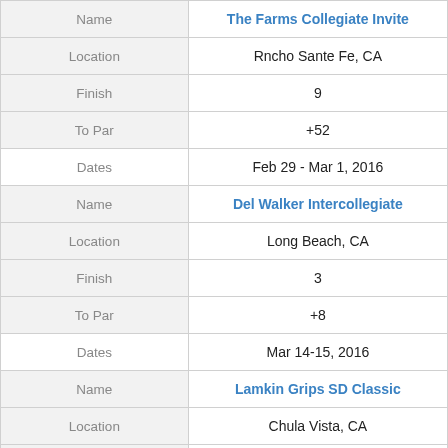| Field | Value |
| --- | --- |
| Name | The Farms Collegiate Invite |
| Location | Rncho Sante Fe, CA |
| Finish | 9 |
| To Par | +52 |
| Dates | Feb 29 - Mar 1, 2016 |
| Name | Del Walker Intercollegiate |
| Location | Long Beach, CA |
| Finish | 3 |
| To Par | +8 |
| Dates | Mar 14-15, 2016 |
| Name | Lamkin Grips SD Classic |
| Location | Chula Vista, CA |
| Finish | 14 |